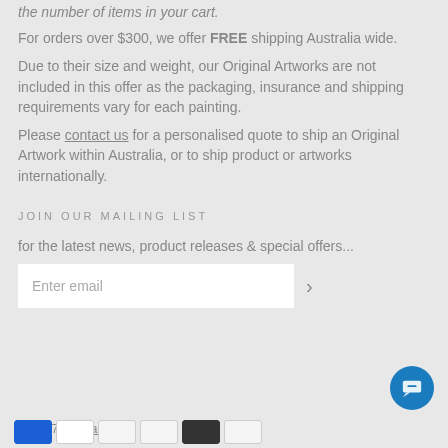the number of items in your cart.
For orders over $300, we offer FREE shipping Australia wide.
Due to their size and weight, our Original Artworks are not included in this offer as the packaging, insurance and shipping requirements vary for each painting.
Please contact us for a personalised quote to ship an Original Artwork within Australia, or to ship product or artworks internationally.
JOIN OUR MAILING LIST
for the latest news, product releases & special offers...
Enter email
© 2017 Jo Stanes